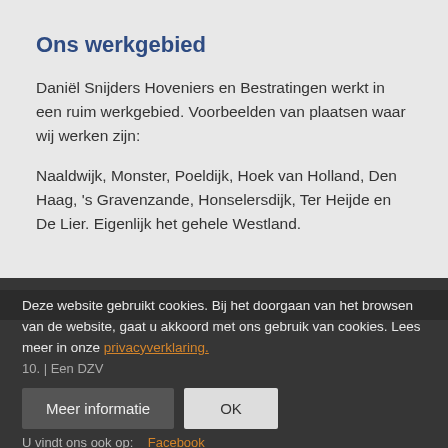Ons werkgebied
Daniël Snijders Hoveniers en Bestratingen werkt in een ruim werkgebied. Voorbeelden van plaatsen waar wij werken zijn:
Naaldwijk, Monster, Poeldijk, Hoek van Holland, Den Haag, 's Gravenzande, Honselersdijk, Ter Heijde en De Lier. Eigenlijk het gehele Westland.
Deze website gebruikt cookies. Bij het doorgaan van het browsen van de website, gaat u akkoord met ons gebruik van cookies. Lees meer in onze privacyverklaring.
10. | Een DZV
U vindt ons ook op:    Facebook